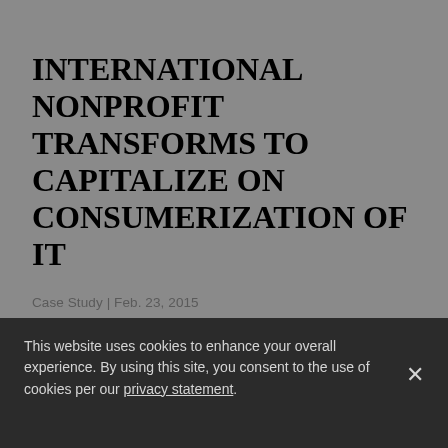INTERNATIONAL NONPROFIT TRANSFORMS TO CAPITALIZE ON CONSUMERIZATION OF IT
Case Study | Feb. 23, 2015
International nonprofit needed an all-inclusive training portfolio to focus on transitioning workforce from technical support to project management and server virtualization. They were shifting several positions to vendor management and product development. Existing IT staff needed to learn new skills to adopt big data analysis, cloud computing and mobile application initiatives.
This website uses cookies to enhance your overall experience. By using this site, you consent to the use of cookies per our privacy statement.